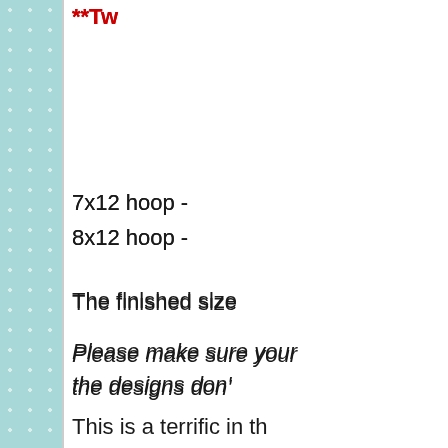[Figure (illustration): Light teal/mint decorative border panel on the left side with white star/snowflake pattern repeated on teal background]
**Tw
7x12 hoop -
8x12 hoop -
The finished size
Please make sure your
the designs don't
This is a terrific in th
designs.  The seasone
in the hoop designs, d
Did you know we also h
cloth can be found in